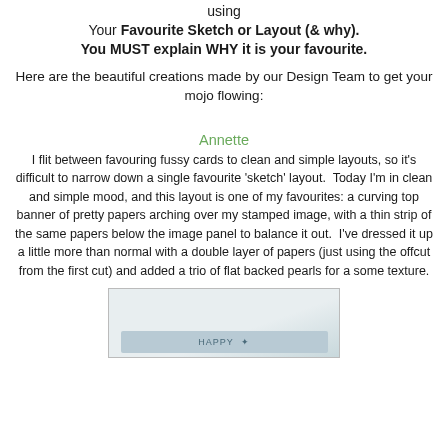using Your Favourite Sketch or Layout (& why). You MUST explain WHY it is your favourite.
Here are the beautiful creations made by our Design Team to get your mojo flowing:
Annette
I flit between favouring fussy cards to clean and simple layouts, so it's difficult to narrow down a single favourite 'sketch' layout.  Today I'm in clean and simple mood, and this layout is one of my favourites: a curving top banner of pretty papers arching over my stamped image, with a thin strip of the same papers below the image panel to balance it out.  I've dressed it up a little more than normal with a double layer of papers (just using the offcut from the first cut) and added a trio of flat backed pearls for a some texture.
[Figure (photo): Photo of a handmade card featuring a stamped image with decorative paper banner and pearls, partially visible at bottom of page]